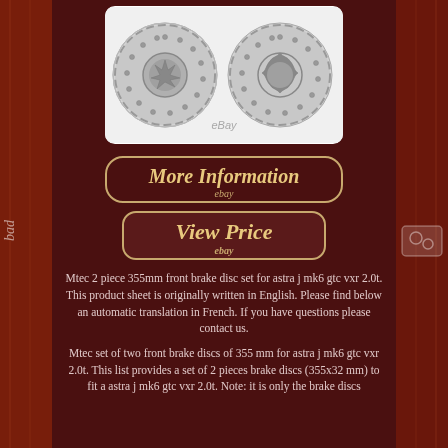[Figure (photo): Two Mtec 355mm drilled and vented brake discs for Astra J MK6 GTC VXR 2.0t, shown side by side on white background with eBay watermark]
More Information
ebay
View Price
ebay
Mtec 2 piece 355mm front brake disc set for astra j mk6 gtc vxr 2.0t. This product sheet is originally written in English. Please find below an automatic translation in French. If you have questions please contact us.
Mtec set of two front brake discs of 355 mm for astra j mk6 gtc vxr 2.0t. This list provides a set of 2 pieces brake discs (355x32 mm) to fit a astra j mk6 gtc vxr 2.0t. Note: it is only the brake discs